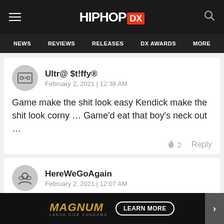HIPHOP DX — NEWS | REVIEWS | RELEASES | DX AWARDS | MORE
Ultr@ $t!ffy®
February 2, 2021 | 12:38 AM
Game make the shit look easy Kendick make the shit look corny … Game'd eat that boy's neck out …
HereWeGoAgain
February 2, 2021 | 12:07 AM
Shut up and pay the woman, CREEP.
[Figure (infographic): Magnum large size condoms advertisement banner with 'LEARN MORE' button]